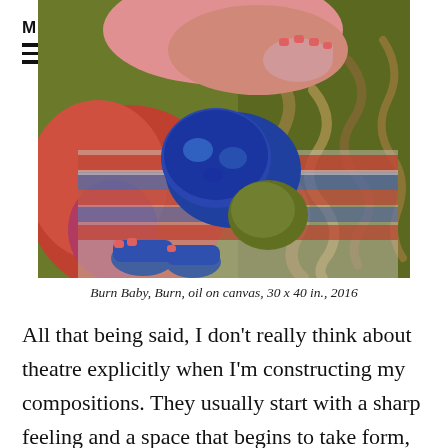MENU
[Figure (illustration): Oil painting titled 'Burn Baby, Burn' showing a figure lying down with a blue-painted face, on a red, white, and blue patterned blanket on a green background. 30 x 40 in., 2016.]
Burn Baby, Burn, oil on canvas, 30 x 40 in., 2016
All that being said, I don't really think about theatre explicitly when I'm constructing my compositions. They usually start with a sharp feeling and a space that begins to take form, as